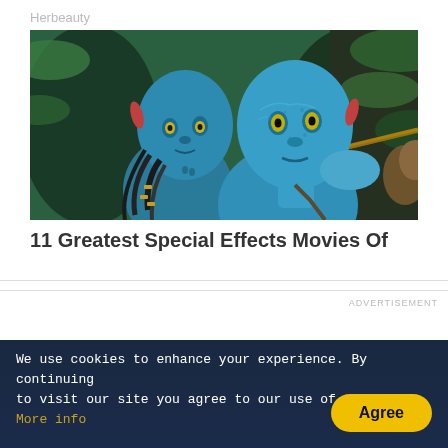Herbeauty
[Figure (photo): Two blue Na'vi characters from Avatar movie, one female with braids and one male holding a bow, set against a green jungle background.]
11 Greatest Special Effects Movies Of
ADVERTISEMENT
We use cookies to enhance your experience. By continuing to visit our site you agree to our use of cookies. More info